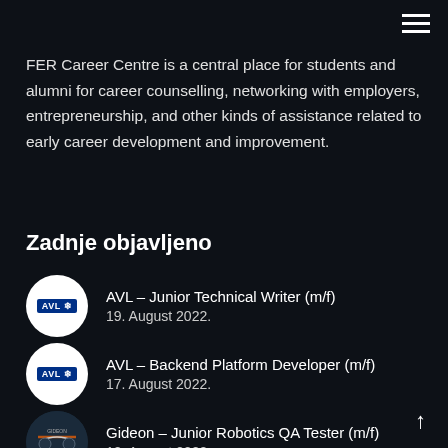☰
FER Career Centre is a central place for students and alumni for career counselling, networking with employers, entrepreneurship, and other kinds of assistance related to early career development and improvement.
Zadnje objavljeno
AVL – Junior Technical Writer (m/f)
19. August 2022.
AVL – Backend Platform Developer (m/f)
17. August 2022.
Gideon – Junior Robotics QA Tester (m/f)
12. August 2022.